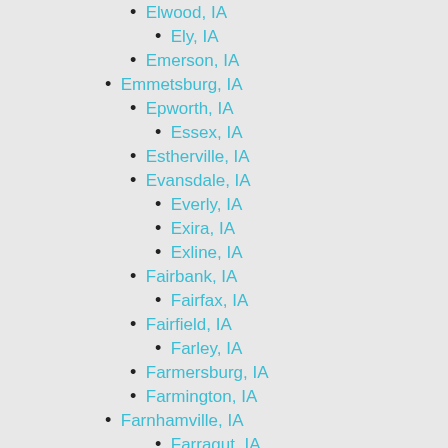Elwood, IA
Ely, IA
Emerson, IA
Emmetsburg, IA
Epworth, IA
Essex, IA
Estherville, IA
Evansdale, IA
Everly, IA
Exira, IA
Exline, IA
Fairbank, IA
Fairfax, IA
Fairfield, IA
Farley, IA
Farmersburg, IA
Farmington, IA
Farnhamville, IA
Farragut, IA
Fayette, IA